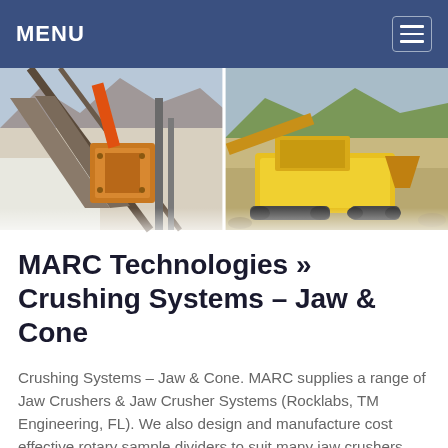MENU
[Figure (photo): Two photos side by side: left shows an industrial jaw crusher with conveyor belts and structural steel in a quarry setting; right shows a mobile yellow crushing machine on tracks in an open mining field with hills in background.]
MARC Technologies » Crushing Systems – Jaw & Cone
Crushing Systems – Jaw & Cone. MARC supplies a range of Jaw Crushers & Jaw Crusher Systems (Rocklabs, TM Engineering, FL). We also design and manufacture cost effective rotary sample dividers to suit many jaw crushers. Contact us to discuss your crushing needs. Rocklabs Boyd Crushers with Rotary Sample Dividers (Left or Right Feed).